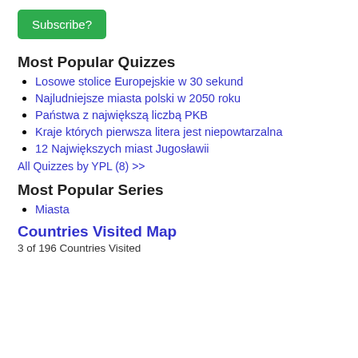Subscribe?
Most Popular Quizzes
Losowe stolice Europejskie w 30 sekund
Najludniejsze miasta polski w 2050 roku
Państwa z największą liczbą PKB
Kraje których pierwsza litera jest niepowtarzalna
12 Największych miast Jugosławii
All Quizzes by YPL (8) >>
Most Popular Series
Miasta
Countries Visited Map
3 of 196 Countries Visited